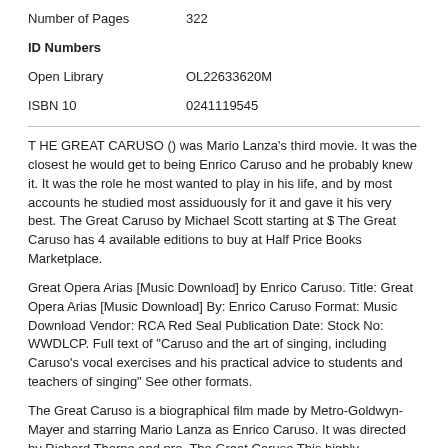| Number of Pages | 322 |
| ID Numbers |  |
| Open Library | OL22633620M |
| ISBN 10 | 0241119545 |
T HE GREAT CARUSO () was Mario Lanza's third movie. It was the closest he would get to being Enrico Caruso and he probably knew it. It was the role he most wanted to play in his life, and by most accounts he studied most assiduously for it and gave it his very best. The Great Caruso by Michael Scott starting at $ The Great Caruso has 4 available editions to buy at Half Price Books Marketplace.
Great Opera Arias [Music Download] by Enrico Caruso. Title: Great Opera Arias [Music Download] By: Enrico Caruso Format: Music Download Vendor: RCA Red Seal Publication Date: Stock No: WWDLCP. Full text of "Caruso and the art of singing, including Caruso's vocal exercises and his practical advice to students and teachers of singing" See other formats.
The Great Caruso is a biographical film made by Metro-Goldwyn-Mayer and starring Mario Lanza as Enrico Caruso. It was directed by Richard Thorpe and pro. The Great Caruso This highly fictionalized, sentimental biog of the late, great Metropolitan Opera tenor, Enrico Caruso, handsomely mounted in Technicolor, has a lot of popular ingredients.